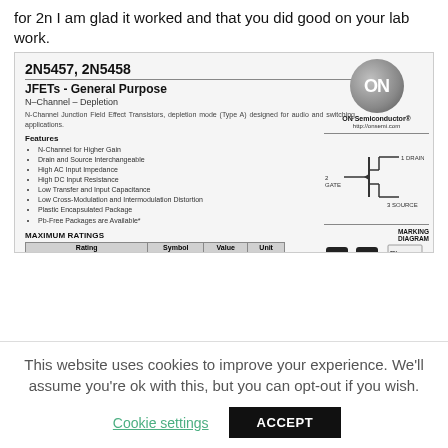for 2n I am glad it worked and that you did good on your lab work.
2N5457, 2N5458
JFETs - General Purpose
N-Channel – Depletion
N-Channel Junction Field Effect Transistors, depletion mode (Type A) designed for audio and switching applications.
Features
N-Channel for Higher Gain
Drain and Source Interchangeable
High AC Input Impedance
High DC Input Resistance
Low Transfer and Input Capacitance
Low Cross-Modulation and Intermodulation Distortion
Plastic Encapsulated Package
Pb-Free Packages are Available*
[Figure (logo): ON Semiconductor circular logo with ON text]
[Figure (schematic): N-Channel JFET transistor schematic symbol with DRAIN, GATE, SOURCE labels]
[Figure (photo): Two black TO-92 transistor packages showing physical components, with marking diagram box showing 2N545x AWWx]
MAXIMUM RATINGS
| Rating | Symbol | Value | Unit |
| --- | --- | --- | --- |
| Drain-Source Voltage | VDS | 25 | Vdc |
| Drain-Gate Voltage | VDG | 25 | Vdc |
This website uses cookies to improve your experience. We'll assume you're ok with this, but you can opt-out if you wish.
Cookie settings    ACCEPT